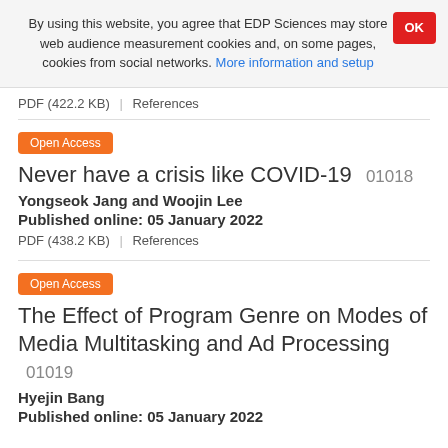By using this website, you agree that EDP Sciences may store web audience measurement cookies and, on some pages, cookies from social networks. More information and setup
PDF (422.2 KB)  |  References
Open Access
Never have a crisis like COVID-19   01018
Yongseok Jang and Woojin Lee
Published online: 05 January 2022
PDF (438.2 KB)  |  References
Open Access
The Effect of Program Genre on Modes of Media Multitasking and Ad Processing   01019
Hyejin Bang
Published online: 05 January 2022